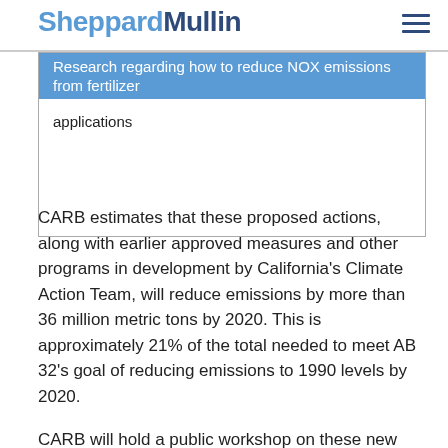SheppardMullin
| Research regarding how to reduce NOX emissions from fertilizer applications |
| --- |
CARB estimates that these proposed actions, along with earlier approved measures and other programs in development by California's Climate Action Team, will reduce emissions by more than 36 million metric tons by 2020.  This is approximately 21% of the total needed to meet AB 32's goal of reducing emissions to 1990 levels by 2020.
CARB will hold a public workshop on these new proposed measures September 17 in Sacramento. CARB is currently scheduled to vote on the new measures October 25-26 in Sacramento.